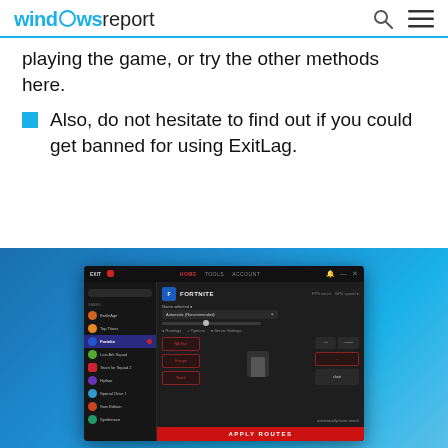windows report
playing the game, or try the other methods here.
Also, do not hesitate to find out if you could get banned for using ExitLag.
[Figure (screenshot): Screenshot of the ExitLag application showing the Fortnite game selected in the sidebar, with route settings, server grid, and an APPLY ROUTES button at the bottom.]